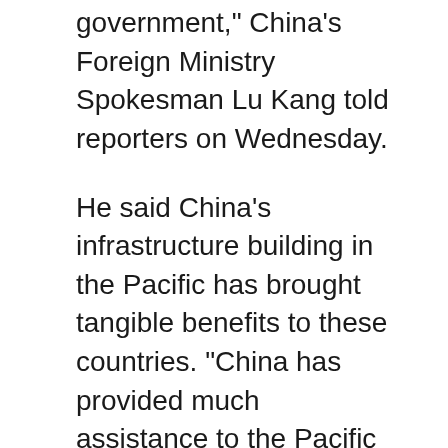government," China's Foreign Ministry Spokesman Lu Kang told reporters on Wednesday.
He said China's infrastructure building in the Pacific has brought tangible benefits to these countries. “China has provided much assistance to the Pacific island states for long time on the basis of full respect for the willingness of their people and governments and taking the development needs of the Pacific island states into full consideration,” according to Lu.
“The fact is the assistance provided by China has greatly promoted the development of these countries, brought tangible benefits to the people of these countries, and received a